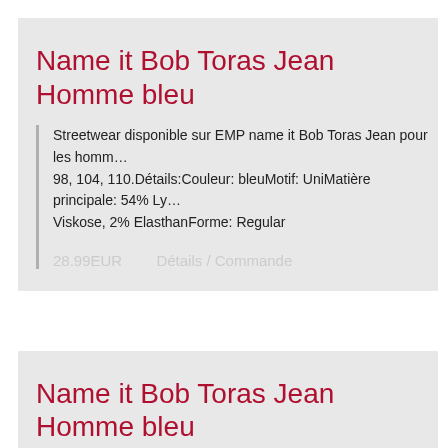Name it Bob Toras Jean Homme bleu
Streetwear disponible sur EMP name it Bob Toras Jean pour les homm… 98, 104, 110.Détails:Couleur: bleuMotif: UniMatière principale: 54% Ly… Viskose, 2% ElasthanForme: Regular
28.99EUR    Détails / Commande
Name it Bob Toras Jean Homme bleu
Streetwear disponible sur EMP name it Bob Toras Jean pour les homm… 98, 104, 110.Détails:Couleur: bleuMotif: UniMatière principale: 54% Ly… Viskose, 2% ElasthanForme: Regular